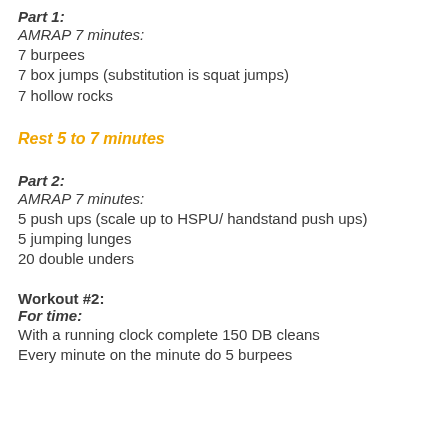Part 1:
AMRAP 7 minutes:
7 burpees
7 box jumps (substitution is squat jumps)
7 hollow rocks
Rest 5 to 7 minutes
Part 2:
AMRAP 7 minutes:
5 push ups (scale up to HSPU/ handstand push ups)
5 jumping lunges
20 double unders
Workout #2:
For time:
With a running clock complete 150 DB cleans
Every minute on the minute do 5 burpees